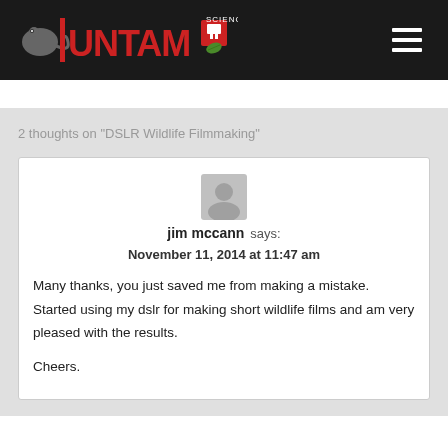Untamed Science
2 thoughts on “DSLR Wildlife Filmmaking”
jim mccann says:
November 11, 2014 at 11:47 am
Many thanks, you just saved me from making a mistake. Started using my dslr for making short wildlife films and am very pleased with the results.
Cheers.